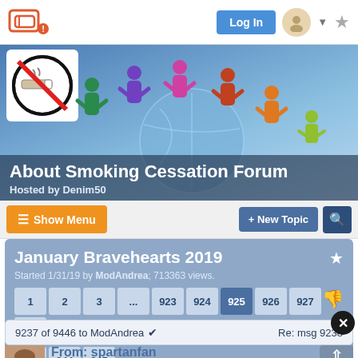Log In
[Figure (screenshot): Forum banner with no-smoking icon and colorful paper people holding hands around globe. Title: About Smoking Cessation Forum. Hosted by Denim50.]
About Smoking Cessation Forum
Hosted by Denim50
January Bravehearts 2019
Started 1/31/19 by ModAndrea; 713363 views.
1 2 3 ... 923 924 925 926 927 ... 943 944 945
9237 of 9446 to ModAndrea ✓   Re: msg 9238
From: spartanfan
10/7/19